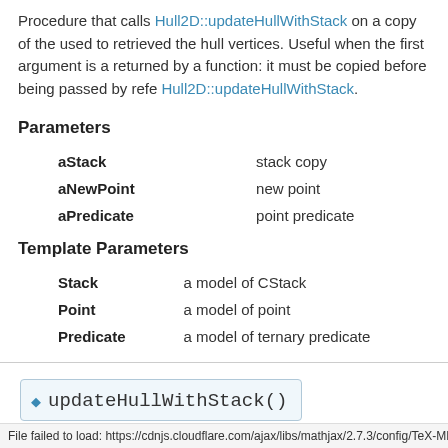Procedure that calls Hull2D::updateHullWithStack on a copy of the used to retrieved the hull vertices. Useful when the first argument is a returned by a function: it must be copied before being passed by refe Hull2D::updateHullWithStack.
Parameters
aStack   stack copy
aNewPoint   new point
aPredicate   point predicate
Template Parameters
Stack   a model of CStack
Point   a model of point
Predicate   a model of ternary predicate
updateHullWithStack()
File failed to load: https://cdnjs.cloudflare.com/ajax/libs/mathjax/2.7.3/config/TeX-MML-A...